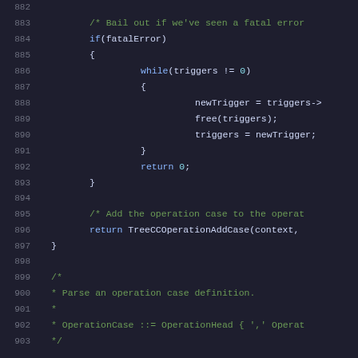Source code listing lines 882-903 showing C code with fatal error handling, while loop for triggers, return statements, and comment block for OperationCase parsing.